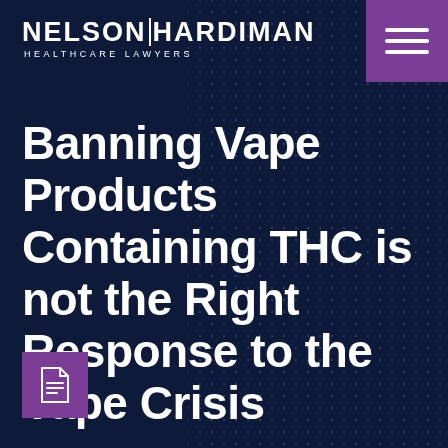[Figure (logo): Nelson Hardiman Healthcare Lawyers logo in white text on dark blue background]
[Figure (other): Purple hamburger menu icon in top right corner]
Banning Vape Products Containing THC is not the Right Response to the Vape Crisis
[Figure (other): Purple PDF icon box in bottom left corner]